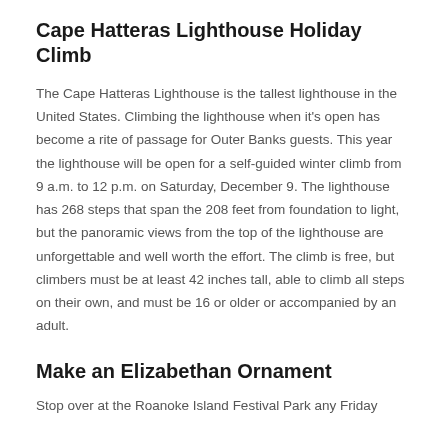Cape Hatteras Lighthouse Holiday Climb
The Cape Hatteras Lighthouse is the tallest lighthouse in the United States. Climbing the lighthouse when it's open has become a rite of passage for Outer Banks guests. This year the lighthouse will be open for a self-guided winter climb from 9 a.m. to 12 p.m. on Saturday, December 9. The lighthouse has 268 steps that span the 208 feet from foundation to light, but the panoramic views from the top of the lighthouse are unforgettable and well worth the effort. The climb is free, but climbers must be at least 42 inches tall, able to climb all steps on their own, and must be 16 or older or accompanied by an adult.
Make an Elizabethan Ornament
Stop over at the Roanoke Island Festival Park any Friday